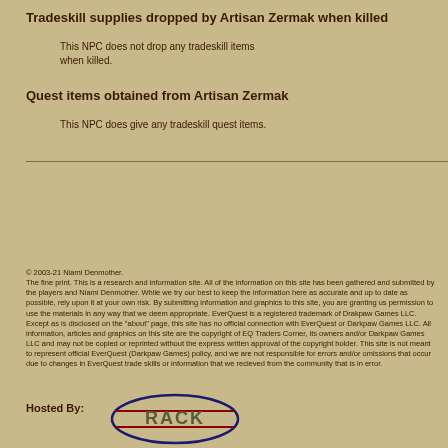Tradeskill supplies dropped by Artisan Zermak when killed
This NPC does not drop any tradeskill items when killed.
Quest items obtained from Artisan Zermak
This NPC does give any tradeskill quest items.
© 2003-21 Niami Denmother. The fine print. This is a research and information site. All of the information on this site has been gathered and submitted by the players and Niami Denmother. While we try our best to keep the information here as accurate and up to date as possible, rely upon it at your own risk. By submitting information and graphics to this site, you are granting us permission to use the materials in any way that we deem appropriate. EverQuest is a registered trademark of Drakpaw Games LLC. Except as is disclosed on the "about" page, this site has no official connection with EverQuest or Darkpaw Games LLC. All information, articles and graphics on this site are the copyright of EQ Traders Corner, its owners and/or Darkpaw Games LLC and may not be copied or reprinted without the express written approval of the copyright holder. This site is not meant to represent official EverQuest (Darkpaw Games) policy, and we are not responsible for errors and/or omissions that occur due to changes in EverQuest trade skills or information that we recieved from the community that is in error.
Hosted By:
[Figure (logo): RACK hosting logo — oval shape with RACK text in large letters and two horizontal red lines]